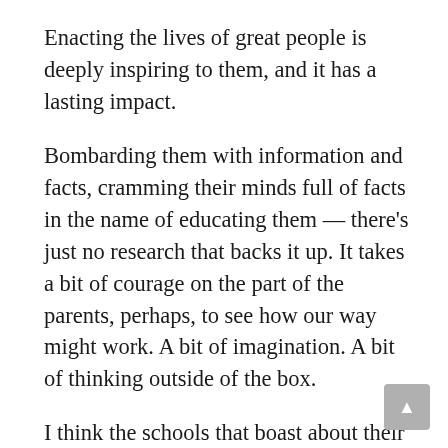Enacting the lives of great people is deeply inspiring to them, and it has a lasting impact.
Bombarding them with information and facts, cramming their minds full of facts in the name of educating them — there's just no research that backs it up. It takes a bit of courage on the part of the parents, perhaps, to see how our way might work. A bit of imagination. A bit of thinking outside of the box.
I think the schools that boast about their academics are playing upon the fears of parents. Parents naturally want their children to be well-prepared — that's natural. And they know how